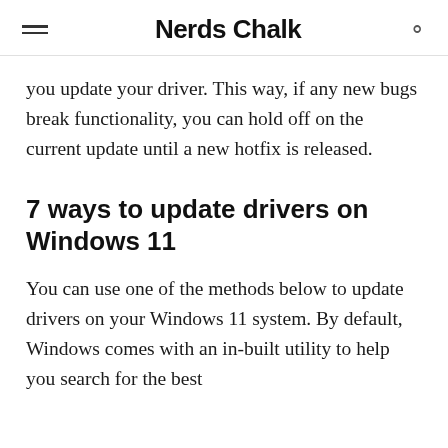Nerds Chalk
you update your driver. This way, if any new bugs break functionality, you can hold off on the current update until a new hotfix is released.
7 ways to update drivers on Windows 11
You can use one of the methods below to update drivers on your Windows 11 system. By default, Windows comes with an in-built utility to help you search for the best